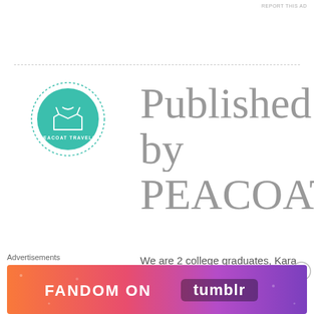REPORT THIS AD
[Figure (logo): Peacoat Travels circular logo with teal background, coat icon, and text 'PEACOAT TRAVELS' in a dashed border circle]
Published by peacoattra
We are 2 college graduates, Kara and Bailey that enjoy discovering the history and roots of everywhere we travel.
View all posts by peacoattravels
Advertisements
[Figure (illustration): Fandom on Tumblr advertisement banner with colorful gradient orange to purple background and white text]